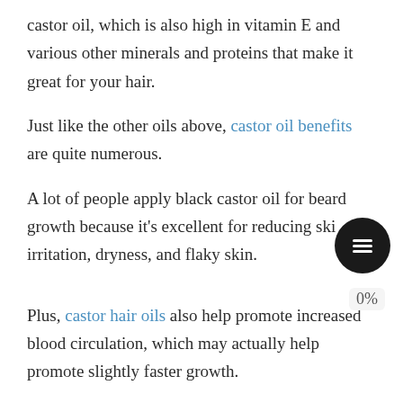castor oil, which is also high in vitamin E and various other minerals and proteins that make it great for your hair.
Just like the other oils above, castor oil benefits are quite numerous.
A lot of people apply black castor oil for beard growth because it's excellent for reducing skin irritation, dryness, and flaky skin.
Plus, castor hair oils also help promote increased blood circulation, which may actually help promote slightly faster growth.